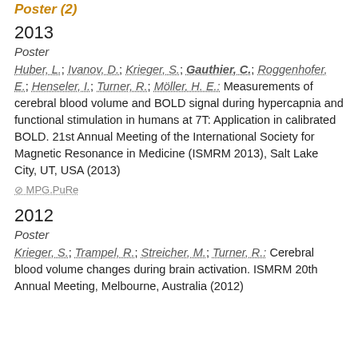Poster (2)
2013
Poster
Huber, L.; Ivanov, D.; Krieger, S.; Gauthier, C.; Roggenhofer, E.; Henseler, I.; Turner, R.; Möller, H. E.: Measurements of cerebral blood volume and BOLD signal during hypercapnia and functional stimulation in humans at 7T: Application in calibrated BOLD. 21st Annual Meeting of the International Society for Magnetic Resonance in Medicine (ISMRM 2013), Salt Lake City, UT, USA (2013)
⊘ MPG.PuRe
2012
Poster
Krieger, S.; Trampel, R.; Streicher, M.; Turner, R.: Cerebral blood volume changes during brain activation. ISMRM 20th Annual Meeting, Melbourne, Australia (2012)